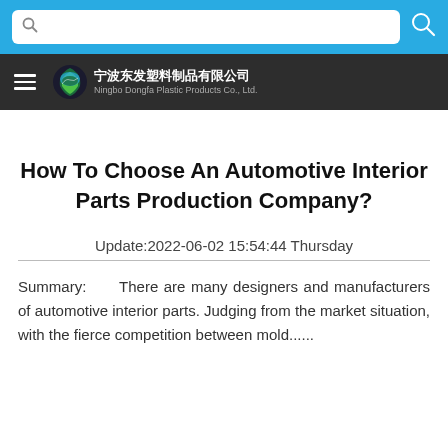[Figure (screenshot): Top navigation area with a blue background search bar containing a search icon on the left and a magnifying glass icon button on the right, followed by a dark nav bar with a hamburger menu icon on the left and the Ningbo Dongfa Plastic Products Co., Ltd. logo and company name in Chinese and English in the center.]
How To Choose An Automotive Interior Parts Production Company?
Update:2022-06-02 15:54:44 Thursday
Summary:      There are many designers and manufacturers of automotive interior parts. Judging from the market situation, with the fierce competition between mold......